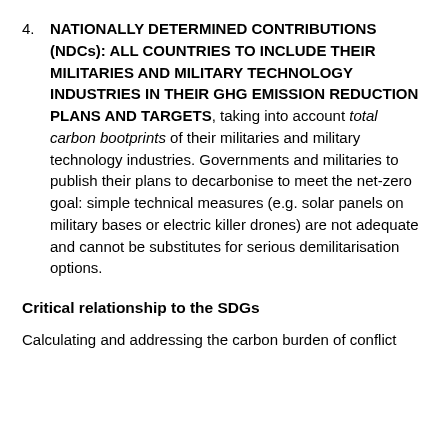4. NATIONALLY DETERMINED CONTRIBUTIONS (NDCs): ALL COUNTRIES TO INCLUDE THEIR MILITARIES AND MILITARY TECHNOLOGY INDUSTRIES IN THEIR GHG EMISSION REDUCTION PLANS AND TARGETS, taking into account total carbon bootprints of their militaries and military technology industries. Governments and militaries to publish their plans to decarbonise to meet the net-zero goal: simple technical measures (e.g. solar panels on military bases or electric killer drones) are not adequate and cannot be substitutes for serious demilitarisation options.
Critical relationship to the SDGs
Calculating and addressing the carbon burden of conflict